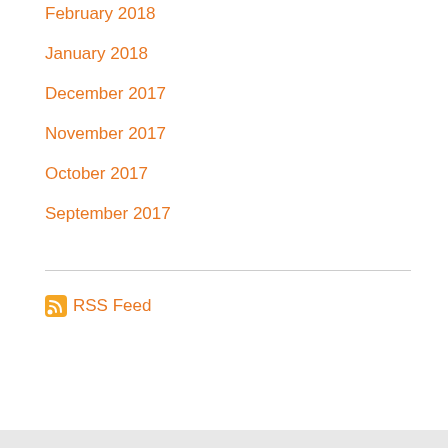February 2018
January 2018
December 2017
November 2017
October 2017
September 2017
RSS Feed